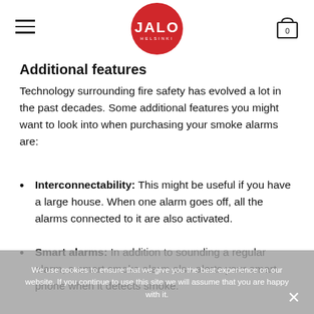JALO HELSINKI
Additional features
Technology surrounding fire safety has evolved a lot in the past decades. Some additional features you might want to look into when purchasing your smoke alarms are:
Interconnectability: This might be useful if you have a large house. When one alarm goes off, all the alarms connected to it are also activated.
Smart alarms: In addition to sounding a regular alarm, a smart smoke alarm also alerts your smart phone when it detects smoke.
Accessibility: There are smoke alarms with features...
We use cookies to ensure that we give you the best experience on our website. If you continue to use this site we will assume that you are happy with it.